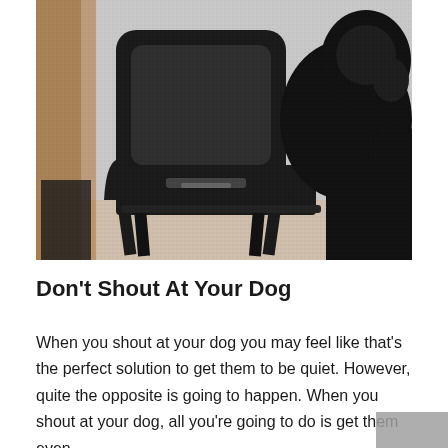[Figure (photo): A black folding chair in the foreground with a large black dog sitting on a chair in the background, and a person with long hair partially visible on the left side. The setting appears to be an indoor space with a light gray background.]
Don't Shout At Your Dog
When you shout at your dog you may feel like that's the perfect solution to get them to be quiet. However, quite the opposite is going to happen. When you shout at your dog, all you're going to do is get them even